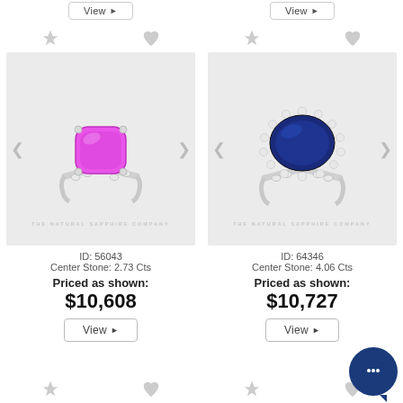[Figure (illustration): Two 'View' buttons at the top of the page for previous products]
[Figure (photo): Pink cushion-cut sapphire ring with diamond band on light grey background, watermark THE NATURAL SAPPHIRE COMPANY]
ID: 56043
Center Stone: 2.73 Cts
Priced as shown:
$10,608
[Figure (photo): Blue oval sapphire ring with diamond halo and diamond band on light grey background, watermark THE NATURAL SAPPHIRE COMPANY]
ID: 64346
Center Stone: 4.06 Cts
Priced as shown:
$10,727